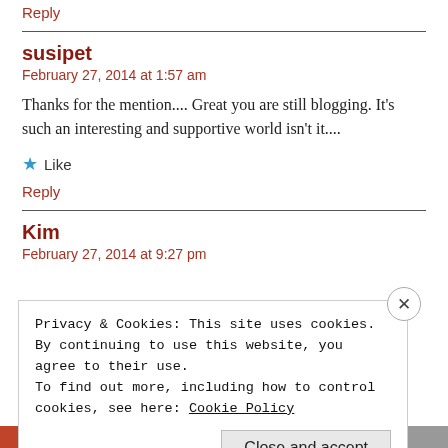Reply
susipet
February 27, 2014 at 1:57 am
Thanks for the mention.... Great you are still blogging. It's such an interesting and supportive world isn't it....
★ Like
Reply
Kim
February 27, 2014 at 9:27 pm
Privacy & Cookies: This site uses cookies. By continuing to use this website, you agree to their use. To find out more, including how to control cookies, see here: Cookie Policy
Close and accept